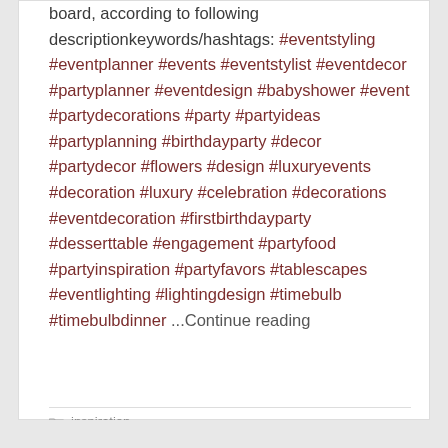board, according to following descriptionkeywords/hashtags: #eventstyling #eventplanner #events #eventstylist #eventdecor #partyplanner #eventdesign #babyshower #event #partydecorations #party #partyideas #partyplanning #birthdayparty #decor #partydecor #flowers #design #luxuryevents #decoration #luxury #celebration #decorations #eventdecoration #firstbirthdayparty #desserttable #engagement #partyfood #partyinspiration #partyfavors #tablescapes #eventlighting #lightingdesign #timebulb #timebulbdinner ...Continue reading
inspiration